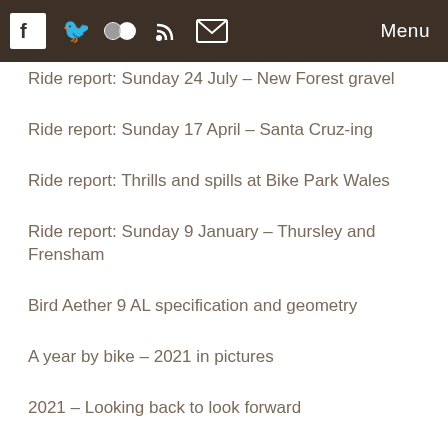Menu
Ride report: Sunday 24 July – New Forest gravel
Ride report: Sunday 17 April – Santa Cruz-ing
Ride report: Thrills and spills at Bike Park Wales
Ride report: Sunday 9 January – Thursley and Frensham
Bird Aether 9 AL specification and geometry
A year by bike – 2021 in pictures
2021 – Looking back to look forward